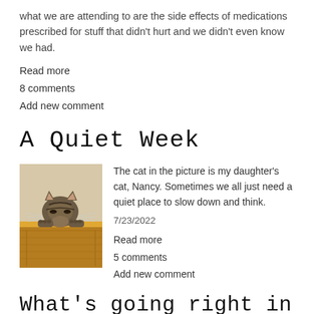what we are attending to are the side effects of medications prescribed for stuff that didn't hurt and we didn't even know we had.
Read more
8 comments
Add new comment
A Quiet Week
[Figure (photo): A small tabby cat resting its head and front paws over the edge of a wooden cabinet or shelf, looking downward.]
The cat in the picture is my daughter's cat, Nancy. Sometimes we all just need a quiet place to slow down and think.
7/23/2022
Read more
5 comments
Add new comment
What's going right in your world?